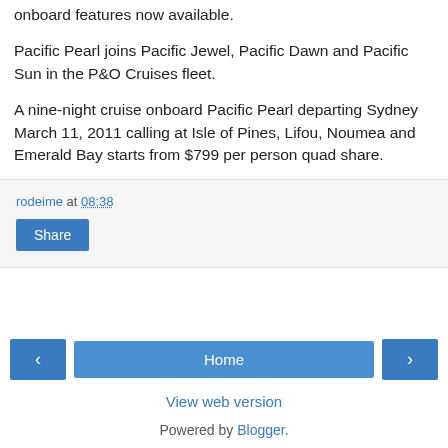onboard features now available.
Pacific Pearl joins Pacific Jewel, Pacific Dawn and Pacific Sun in the P&O Cruises fleet.
A nine-night cruise onboard Pacific Pearl departing Sydney March 11, 2011 calling at Isle of Pines, Lifou, Noumea and Emerald Bay starts from $799 per person quad share.
rodeime at 08:38
Share
Home
View web version
Powered by Blogger.